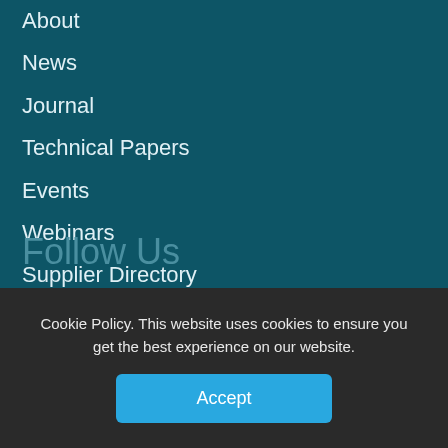About
News
Journal
Technical Papers
Events
Webinars
Supplier Directory
Advertising
Careers
Contact
Follow Us
Twitter
Facebook
Cookie Policy. This website uses cookies to ensure you get the best experience on our website.
Accept